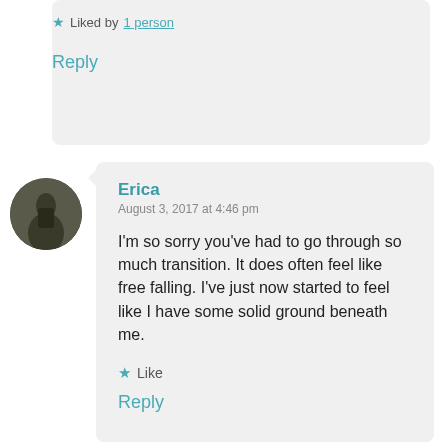★ Liked by 1 person
Reply
[Figure (photo): Circular avatar photo of a person, dark tones]
Erica
August 3, 2017 at 4:46 pm
I'm so sorry you've had to go through so much transition. It does often feel like free falling. I've just now started to feel like I have some solid ground beneath me.
★ Like
Reply